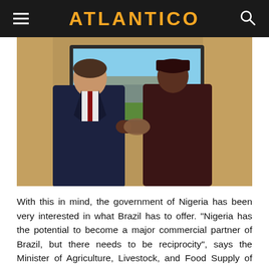ATLANTICO
[Figure (photo): Two men in suits shaking hands in front of a framed landscape photo on a wood-paneled wall. The man on the left is wearing a dark business suit, the man on the right is wearing a dark traditional African outfit with a cap.]
With this in mind, the government of Nigeria has been very interested in what Brazil has to offer. “Nigeria has the potential to become a major commercial partner of Brazil, but there needs to be reciprocity”, says the Minister of Agriculture, Livestock, and Food Supply of Brazil, Blairo Maggi, who during the event, met with the Nigerian Rural Development and Agriculture Minister to discuss Sabulo Ogua…